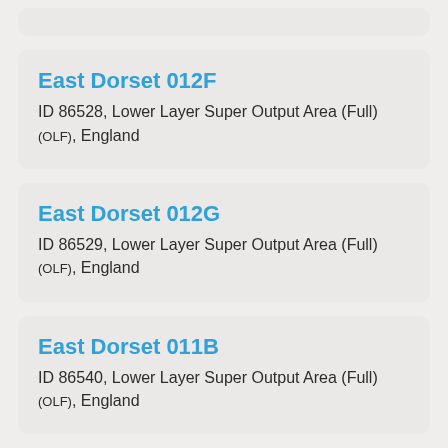East Dorset 012F
ID 86528, Lower Layer Super Output Area (Full) (OLF), England
East Dorset 012G
ID 86529, Lower Layer Super Output Area (Full) (OLF), England
East Dorset 011B
ID 86540, Lower Layer Super Output Area (Full) (OLF), England